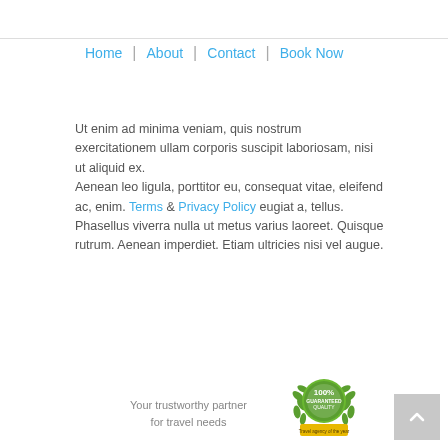Home | About | Contact | Book Now
Ut enim ad minima veniam, quis nostrum exercitationem ullam corporis suscipit laboriosam, nisi ut aliquid ex.
Aenean leo ligula, porttitor eu, consequat vitae, eleifend ac, enim. Terms & Privacy Policy eugiat a, tellus.
Phasellus viverra nulla ut metus varius laoreet. Quisque rutrum. Aenean imperdiet. Etiam ultricies nisi vel augue.
Your trustworthy partner for travel needs
[Figure (logo): Round green badge with '100% Guaranteed Quality - Travel agency of the year' text and laurel wreath design]